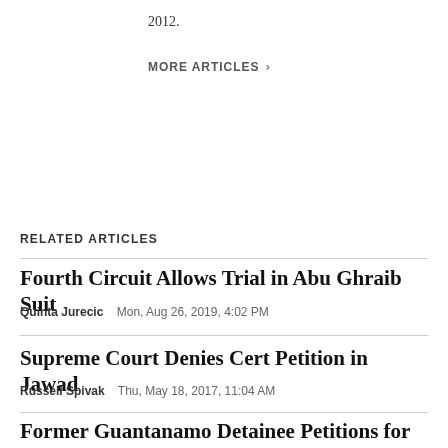2012.
MORE ARTICLES >
RELATED ARTICLES
Fourth Circuit Allows Trial in Abu Ghraib Suit
Quinta Jurecic   Mon, Aug 26, 2019, 4:02 PM
Supreme Court Denies Cert Petition in Jawad
Russell Spivak   Thu, May 18, 2017, 11:04 AM
Former Guantanamo Detainee Petitions for